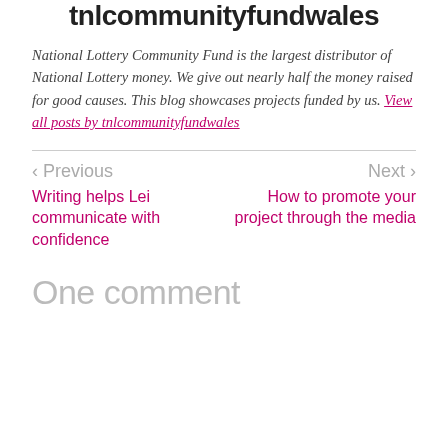tnlcommunityfundwales
National Lottery Community Fund is the largest distributor of National Lottery money. We give out nearly half the money raised for good causes. This blog showcases projects funded by us. View all posts by tnlcommunityfundwales
< Previous
Writing helps Lei communicate with confidence
Next >
How to promote your project through the media
One comment